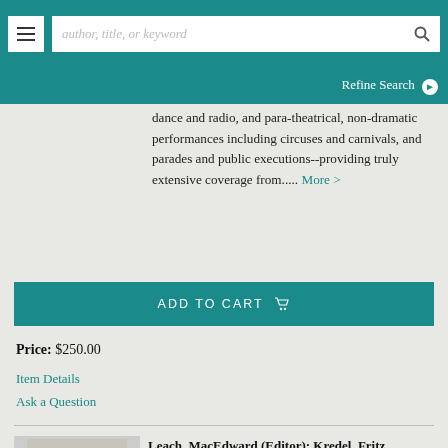author, title, or keyword | Refine Search
dance and radio, and para-theatrical, non-dramatic performances including circuses and carnivals, and parades and public executions--providing truly extensive coverage from..... More >
ADD TO CART
Price: $250.00
Item Details
Ask a Question
Leach, MacEdward (Editor); Kredel, Fritz (Illustrations)